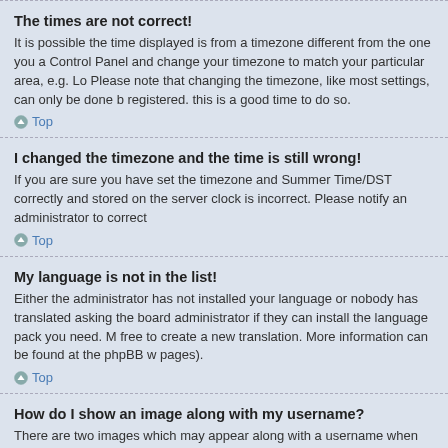The times are not correct!
It is possible the time displayed is from a timezone different from the one you a Control Panel and change your timezone to match your particular area, e.g. Lo Please note that changing the timezone, like most settings, can only be done b registered. this is a good time to do so.
Top
I changed the timezone and the time is still wrong!
If you are sure you have set the timezone and Summer Time/DST correctly ano stored on the server clock is incorrect. Please notify an administrator to correct
Top
My language is not in the list!
Either the administrator has not installed your language or nobody has translate asking the board administrator if they can install the language pack you need. I free to create a new translation. More information can be found at the phpBB w pages).
Top
How do I show an image along with my username?
There are two images which may appear along with a username when viewing associated with your rank, generally in the form of stars, blocks or dots, indicati your status on the board. Another, usually a larger image, is known as an avata each user. It is up to the board administrator to enable avatars and to choose th